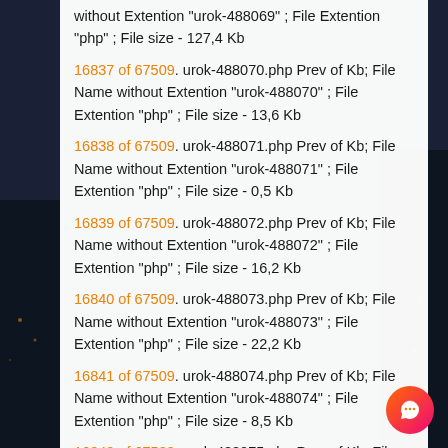without Extention "urok-488069" ; File Extention "php" ; File size - 127,4 Kb
16837 of 67509. urok-488070.php Prev of Kb; File Name without Extention "urok-488070" ; File Extention "php" ; File size - 13,6 Kb
16838 of 67509. urok-488071.php Prev of Kb; File Name without Extention "urok-488071" ; File Extention "php" ; File size - 0,5 Kb
16839 of 67509. urok-488072.php Prev of Kb; File Name without Extention "urok-488072" ; File Extention "php" ; File size - 16,2 Kb
16840 of 67509. urok-488073.php Prev of Kb; File Name without Extention "urok-488073" ; File Extention "php" ; File size - 22,2 Kb
16841 of 67509. urok-488074.php Prev of Kb; File Name without Extention "urok-488074" ; File Extention "php" ; File size - 8,5 Kb
16842 of 67509. urok-488075.php Prev of Kb; File Name